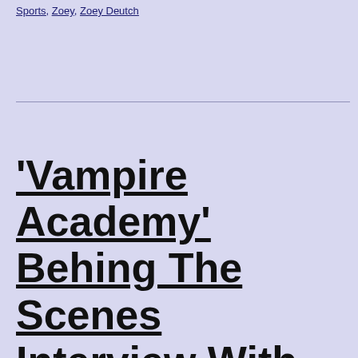Sports, Zoey, Zoey Deutch
'Vampire Academy' Behing The Scenes Interview With Zoey Deutch and Lucy Fry